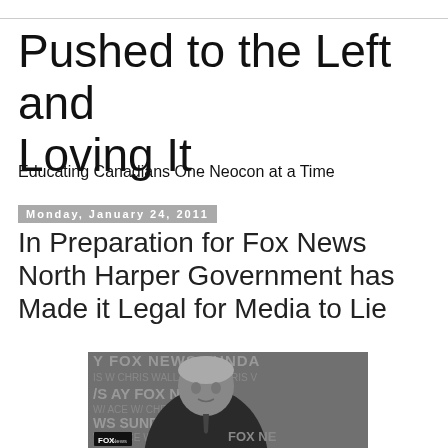Pushed to the Left and Loving It
Educating Canadians One Neocon at a Time
Monday, January 24, 2011
In Preparation for Fox News North Harper Government has Made it Legal for Media to Lie
[Figure (photo): Black and white photo of a man in a dark suit seated in front of a Fox News Sunday backdrop with repeated text 'FOX NEWS SUNDAY', 'CHRIS WALLACE', 'W/ CHRIS', '/S', 'AY', 'FOX NEW', 'ACE', 'WS SUNDA', 'WALLACE', 'W/ CHRI', 'FOX NE'. A Fox News logo bug is visible in the bottom left corner.]